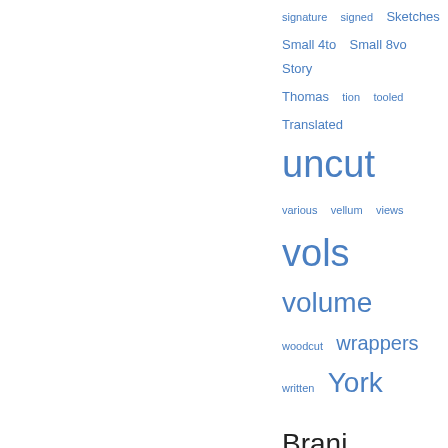signature  signed  Sketches  Small 4to  Small 8vo  Story  Thomas  tion  tooled  Translated  uncut  various  vellum  views  vols  volume  woodcut  wrappers  written  York
Brani popolari
Pagina 133 - History of New York, from the beginning of the World to the End of the Dutch Dynasty.
Appare in 785 libri dal 1640 al 2008